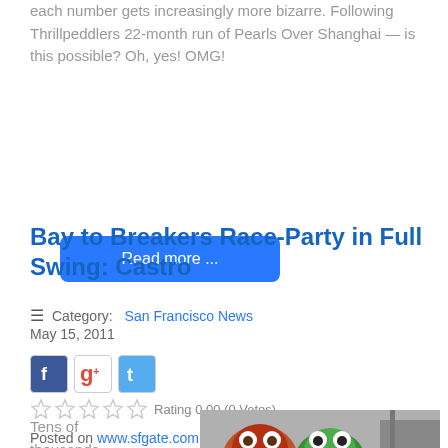each number gets increasingly more bizarre. Following Thrillpeddlers 22-month run of Pearls Over Shanghai — is this possible? Oh, yes! OMG!
Read more ...
Bay to Breakers Race-Party in Full Swing: Castro
Category: San Francisco News
May 15, 2011
[Figure (infographic): Social media share icons: Facebook, Google+, Twitter]
Rating 0.00 (0 Votes)
Posted on www.sfgate.com
By Jessica Kwong
Tens of thousands
[Figure (photo): Photo showing Muppet characters Animal and Kermit the Frog at what appears to be an outdoor event]